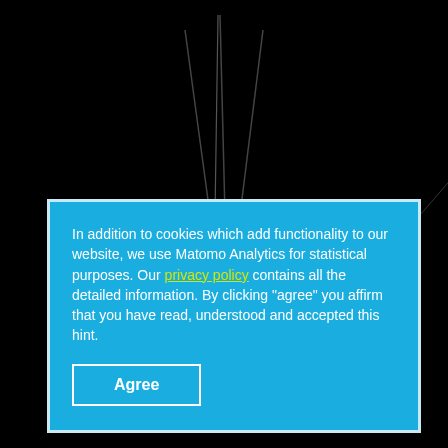[Figure (screenshot): Black background with antenna/tower silhouette lines visible at top, and a blue cookie consent dialog box in the lower portion of the screen.]
In addition to cookies which add functionality to our website, we use Matomo Analytics for statistical purposes. Our privacy policy contains all the detailed information. By clicking "agree" you affirm that you have read, understood and accepted this hint.
Agree